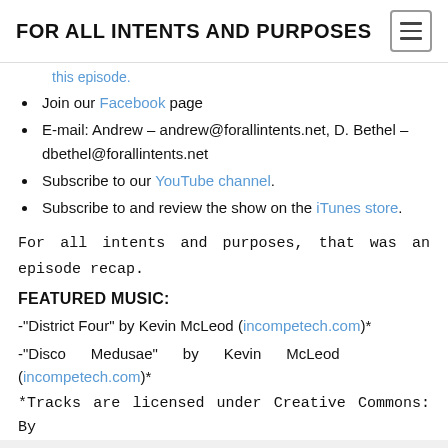FOR ALL INTENTS AND PURPOSES
this episode. (truncated link text)
Join our Facebook page
E-mail: Andrew – andrew@forallintents.net, D. Bethel – dbethel@forallintents.net
Subscribe to our YouTube channel.
Subscribe to and review the show on the iTunes store.
For all intents and purposes, that was an episode recap.
FEATURED MUSIC:
-"District Four" by Kevin McLeod (incompetech.com)*
-"Disco Medusae" by Kevin McLeod (incompetech.com)*
*Tracks are licensed under Creative Commons: By